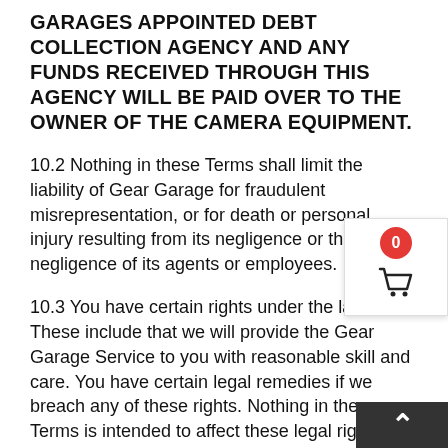GARAGES APPOINTED DEBT COLLECTION AGENCY AND ANY FUNDS RECEIVED THROUGH THIS AGENCY WILL BE PAID OVER TO THE OWNER OF THE CAMERA EQUIPMENT.
10.2 Nothing in these Terms shall limit the liability of Gear Garage for fraudulent misrepresentation, or for death or personal injury resulting from its negligence or the negligence of its agents or employees.
10.3 You have certain rights under the law. These include that we will provide the Gear Garage Service to you with reasonable skill and care. You have certain legal remedies if we breach any of these rights. Nothing in these Terms is intended to affect these legal rights or other rights which you may also be entitled, for example to damages or specific performance. For more information about your legal rights contact your local Citizens Advice Service or visit the National Consumer Commission website at: